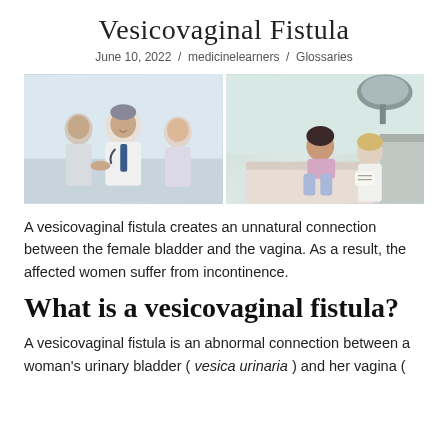Vesicovaginal Fistula
June 10, 2022 / medicinelearners / Glossaries
[Figure (photo): Two side-by-side medical photos: left shows a male doctor in a white coat shaking hands with a patient while a female colleague looks on; right shows a female patient sitting on an examination table speaking with a female doctor.]
A vesicovaginal fistula creates an unnatural connection between the female bladder and the vagina. As a result, the affected women suffer from incontinence.
What is a vesicovaginal fistula?
A vesicovaginal fistula is an abnormal connection between a woman's urinary bladder ( vesica urinaria ) and her vagina ( vagina ). This pathology is characterized by leakage over the bladder...